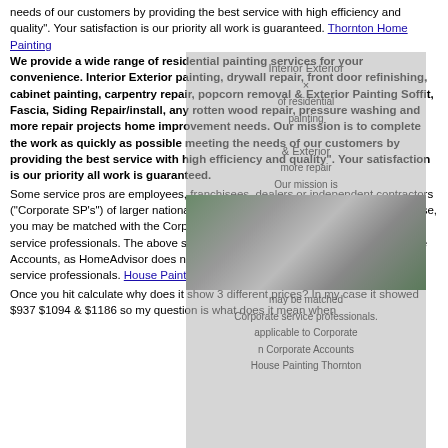needs of our customers by providing the best service with high efficiency and quality". Your satisfaction is our priority all work is guaranteed. Thornton Home Painting
We provide a wide range of residential painting services for your convenience. Interior Exterior painting, drywall repair, front door refinishing, cabinet painting, carpentry repair, popcorn removal & Exterior Painting Soffit, Fascia, Siding Repair/install, any rotten wood repair, pressure washing and more repair projects home improvement needs. Our mission is to complete the work as quickly as possible meeting the needs of our customers by providing the best service with high efficiency and quality". Your satisfaction is our priority all work is guaranteed.
Some service pros are employees, franchisees, dealers or independent contractors ("Corporate SP's") of larger national or "Corporate Accounts". When this is the case, you may be matched with the Corporate Account or with one of their Corporate service professionals. The above screening process is not applicable to Corporate Accounts, as HomeAdvisor does not screen Corporate Accounts or Corporate service professionals. House Painting Thornton
Once you hit calculate why does it show 3 different prices? In my case it showed $937 $1094 & $1186 so my question is what does it mean when